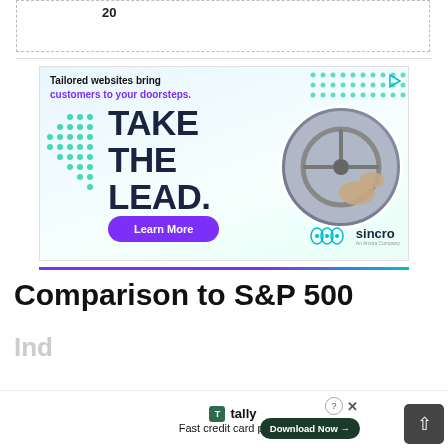[Figure (other): Top portion of a dashed-border box with number '20' visible at top]
[Figure (other): Sincro advertisement banner: 'Tailored websites bring customers to your doorsteps.' with 'TAKE THE LEAD.' text, driving image, Learn More button, and Sincro logo]
Comparison to S&P 500
Ind
[Figure (other): Tally app advertisement at bottom: 'Fast credit card payoff' with Download Now button, close and help icons, and scroll-to-top button]